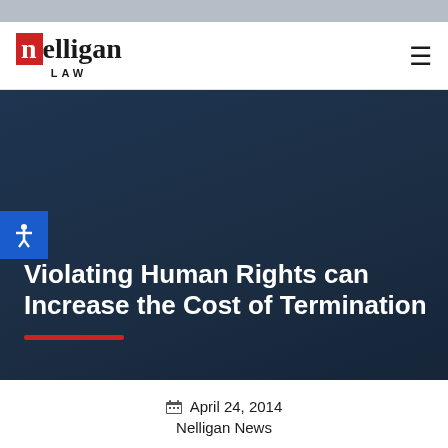Nelligan Law
Violating Human Rights can Increase the Cost of Termination
April 24, 2014
Nelligan News